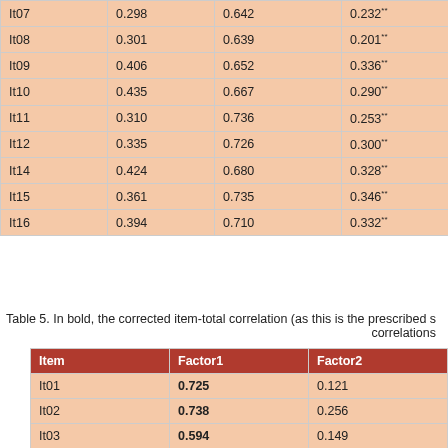|  |  |  |  |
| --- | --- | --- | --- |
| It07 | 0.298 | 0.642 | 0.232** |
| It08 | 0.301 | 0.639 | 0.201** |
| It09 | 0.406 | 0.652 | 0.336** |
| It10 | 0.435 | 0.667 | 0.290** |
| It11 | 0.310 | 0.736 | 0.253** |
| It12 | 0.335 | 0.726 | 0.300** |
| It14 | 0.424 | 0.680 | 0.328** |
| It15 | 0.361 | 0.735 | 0.346** |
| It16 | 0.394 | 0.710 | 0.332** |
Table 5. In bold, the corrected item-total correlation (as this is the prescribed s... correlations
| Item | Factor1 | Factor2 |
| --- | --- | --- |
| It01 | 0.725 | 0.121 |
| It02 | 0.738 | 0.256 |
| It03 | 0.594 | 0.149 |
| It04 | 0.560 | 0.124 |